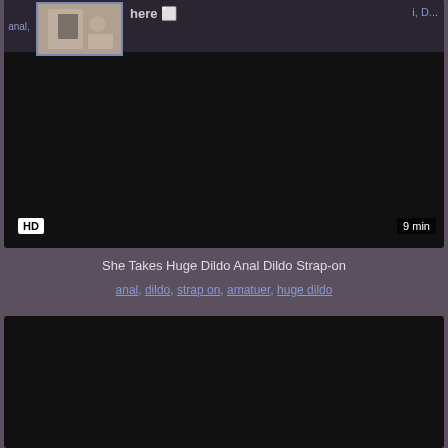[Figure (screenshot): Video thumbnail showing a person taking a mirror selfie, partially visible at top of dark video card]
HD
9 min
She Takes Huge Dildo Anal Dildo Strap-on
anal, dildo, strap on, amatuer, huge dildo
[Figure (screenshot): Dark video card at bottom of page, content not visible]